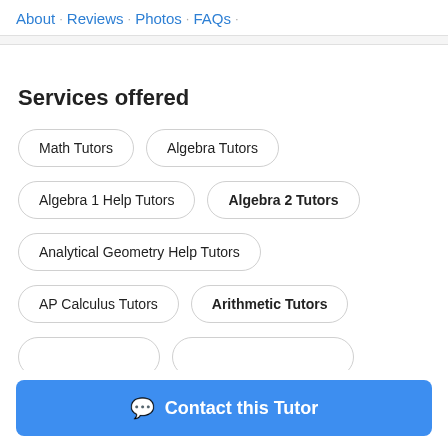About · Reviews · Photos · FAQs ·
Services offered
Math Tutors
Algebra Tutors
Algebra 1 Help Tutors
Algebra 2 Tutors
Analytical Geometry Help Tutors
AP Calculus Tutors
Arithmetic Tutors
Contact this Tutor